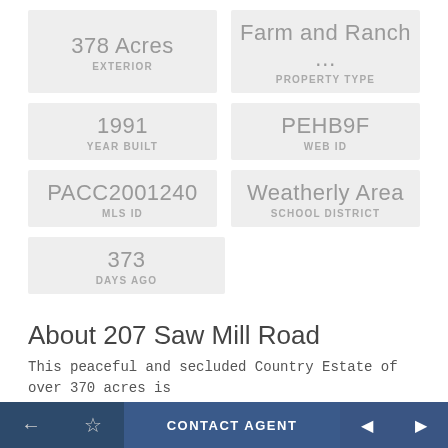378 Acres
EXTERIOR
Farm and Ranch ...
PROPERTY TYPE
1991
YEAR BUILT
PEHB9F
WEB ID
PACC2001240
MLS ID
Weatherly Area
SCHOOL DISTRICT
373
DAYS AGO
About 207 Saw Mill Road
This peaceful and secluded Country Estate of over 370 acres is
← ☆ CONTACT AGENT ◄ ►